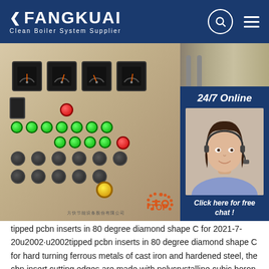FANGKUAI Clean Boiler System Supplier
[Figure (photo): Control panel with gauges and buttons, with sidebar showing 24/7 Online agent and QUOTATION button]
tipped pcbn inserts in 80 degree diamond shape C for 2021-7-20u2002·u2002tipped pcbn inserts in 80 degree diamond shape C for hard turning ferrous metals of cast iron and hardened steel, the cbn insert cutting edges are made with polycrystalline cubic boron nitride, indexable inserts with cbn tips are precision cutting tools, which are used in cnc fine finish machining and